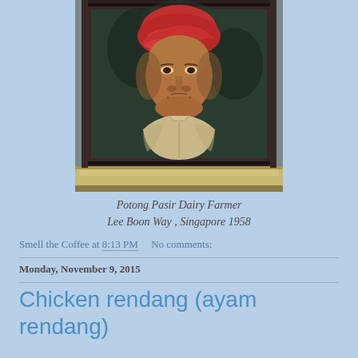[Figure (illustration): A framed oil painting portrait of a Malay man wearing a red turban and light-colored shirt, displayed against a dark background. The painting is mounted in an ornate dark frame with a light-colored shelf or ledge at the bottom.]
Potong Pasir Dairy Farmer
Lee Boon Way , Singapore 1958
Smell the Coffee at 8:13 PM    No comments:
Monday, November 9, 2015
Chicken rendang (ayam rendang)